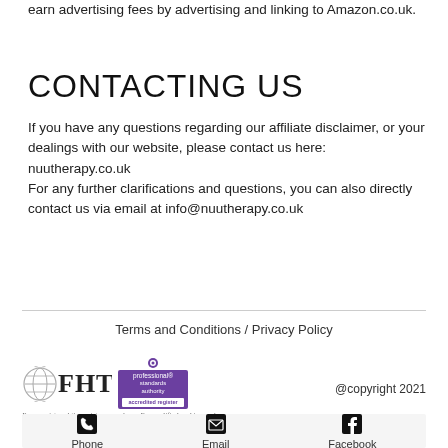earn advertising fees by advertising and linking to Amazon.co.uk.
CONTACTING US
If you have any questions regarding our affiliate disclaimer, or your dealings with our website, please contact us here: nuutherapy.co.uk
For any further clarifications and questions, you can also directly contact us via email at info@nuutherapy.co.uk
Terms and Conditions / Privacy Policy
[Figure (logo): FHT logo with globe icon and Professional Standards Authority accredited register badge, tagline: I'm a registered therapist, so you know I'm qualified and insured]
@copyright 2021
Phone  Email  Facebook